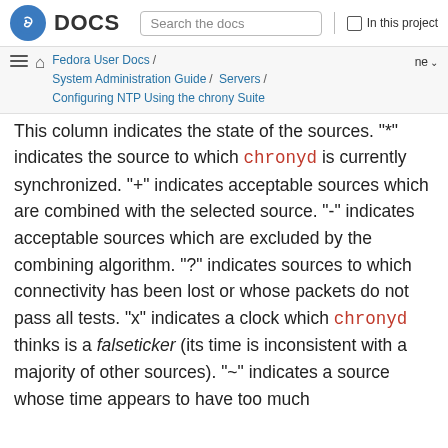Fedora DOCS | Search the docs | In this project
Fedora User Docs / System Administration Guide / Servers / Configuring NTP Using the chrony Suite | ne
This column indicates the state of the sources. "*" indicates the source to which chronyd is currently synchronized. "+" indicates acceptable sources which are combined with the selected source. "-" indicates acceptable sources which are excluded by the combining algorithm. "?" indicates sources to which connectivity has been lost or whose packets do not pass all tests. "x" indicates a clock which chronyd thinks is a falseticker (its time is inconsistent with a majority of other sources). "~" indicates a source whose time appears to have too much variability. The "@" condition is shown...